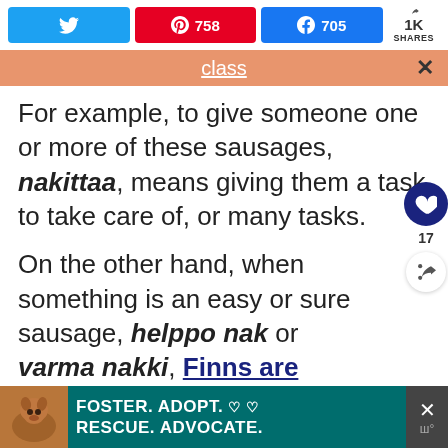Twitter share | Pinterest 758 | Facebook 705 | 1K SHARES
class (notification bar)
For example, to give someone one or more of these sausages, nakittaa, means giving them a task to take care of, or many tasks.
On the other hand, when something is an easy or sure sausage, helppo nak or varma nakki, Finns are assuming things to go smoothly and without problems.
[Figure (infographic): Dog rescue advertisement: FOSTER. ADOPT. RESCUE. ADVOCATE. on teal background with dog photo]